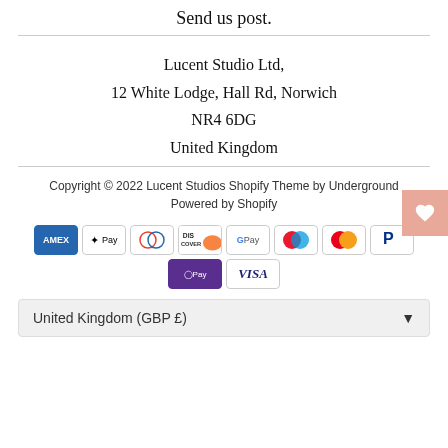Send us post.
Lucent Studio Ltd,
12 White Lodge, Hall Rd, Norwich
NR4 6DG
United Kingdom
Copyright © 2022 Lucent Studios Shopify Theme by Underground Powered by Shopify
[Figure (infographic): Payment method icons: American Express, Apple Pay, Diners Club, Discover, Google Pay, Maestro, Mastercard, PayPal, Shop Pay, Visa]
United Kingdom (GBP £)